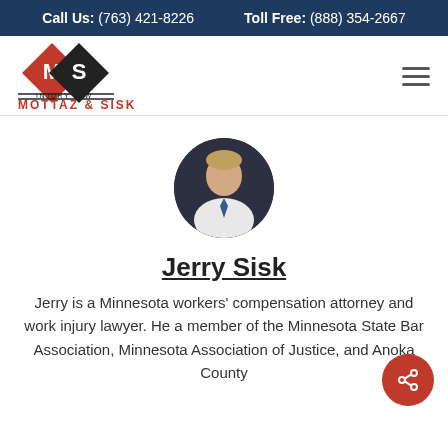Call Us: (763) 421-8226    Toll Free: (888) 354-2667
[Figure (logo): Mottaz & Sisk Injury Law logo with red and black diamond shapes containing M and S letters]
[Figure (photo): Circular headshot photo of Jerry Sisk, a man in a white shirt and tie against a dark background]
Jerry Sisk
Jerry is a Minnesota workers' compensation attorney and work injury lawyer. He a member of the Minnesota State Bar Association, Minnesota Association of Justice, and Anoka County